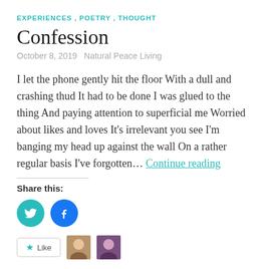EXPERIENCES , POETRY , THOUGHT
Confession
October 8, 2019   Natural Peace Living
I let the phone gently hit the floor With a dull and crashing thud It had to be done I was glued to the thing And paying attention to superficial me Worried about likes and loves It's irrelevant you see I'm banging my head up against the wall On a rather regular basis I've forgotten… Continue reading
Share this:
[Figure (illustration): Twitter and Facebook share icon buttons (circular teal/blue icons)]
[Figure (illustration): Like button and two user avatar thumbnails]